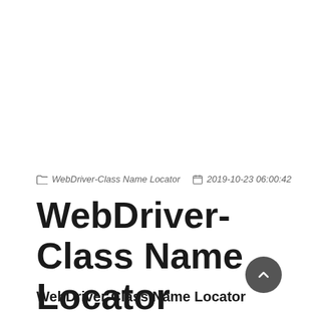WebDriver-Class Name Locator  2019-10-23 06:00:42
WebDriver-Class Name Locator
WebDriver-Class Name Locator